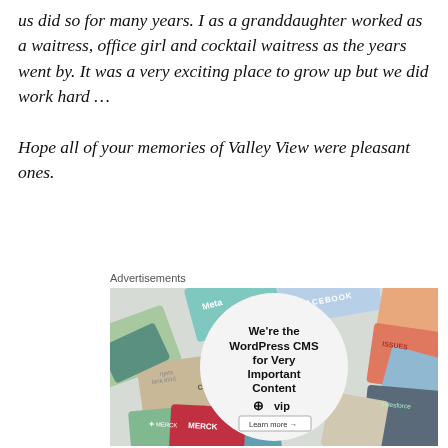us did so for many years. I as a granddaughter worked as a waitress, office girl and cocktail waitress as the years went by. It was a very exciting place to grow up but we did work hard …

Hope all of your memories of Valley View were pleasant ones.
Advertisements
[Figure (other): WordPress VIP advertisement banner showing colorful brand/company cards in the background (Meta, Facebook, Capgemini, Merck, etc.) with a white circle overlay containing text: 'We're the WordPress CMS for Very Important Content' with WordPress VIP logo and a 'Learn more →' button.]